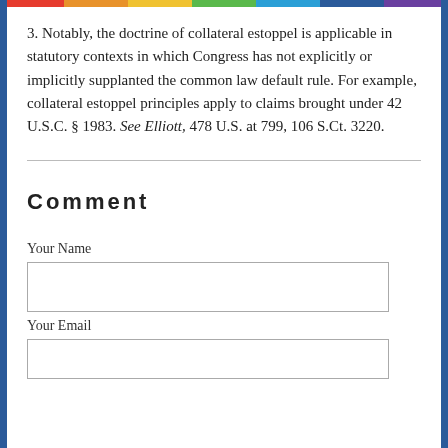3. Notably, the doctrine of collateral estoppel is applicable in statutory contexts in which Congress has not explicitly or implicitly supplanted the common law default rule. For example, collateral estoppel principles apply to claims brought under 42 U.S.C. § 1983. See Elliott, 478 U.S. at 799, 106 S.Ct. 3220.
Comment
Your Name
Your Email